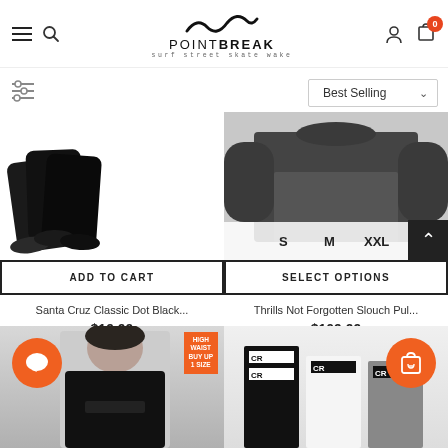POINTBREAK - surf street skate wake
Best Selling
[Figure (photo): Santa Cruz Classic Dot Black socks product photo - three pairs of black no-show socks on white background]
ADD TO CART
Santa Cruz Classic Dot Black...
$19.99
[Figure (photo): Thrills Not Forgotten Slouch Pullover - person wearing dark grey hoodie, with size options S, M, XXL shown at bottom]
SELECT OPTIONS
Thrills Not Forgotten Slouch Pul...
$109.99
[Figure (photo): Woman in black hoodie with HIGH WAIST BUY UP 1 SIZE badge, chat bubble icon overlay]
[Figure (photo): Stacked product boxes/items in black, white and grey with cart/wishlist icon overlay]